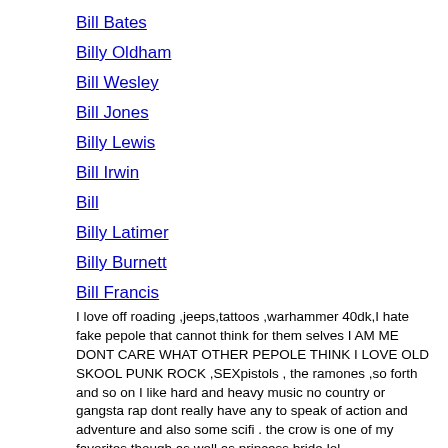Bill Bates
Billy Oldham
Bill Wesley
Bill Jones
Billy Lewis
Bill Irwin
Bill
Billy Latimer
Billy Burnett
Bill Francis
I love off roading ,jeeps,tattoos ,warhammer 40dk,I hate fake pepole that cannot think for them selves I AM ME DONT CARE WHAT OTHER PEPOLE THINK I LOVE OLD SKOOL PUNK ROCK ,SEXpistols , the ramones ,so forth and so on I like hard and heavy music no country or gangsta rap dont really have any to speak of action and adventure and also some scifi . the crow is one of my favorites though as well as princess bride lol
Billie
Bill Deyarmon Jr
Bill
Bill